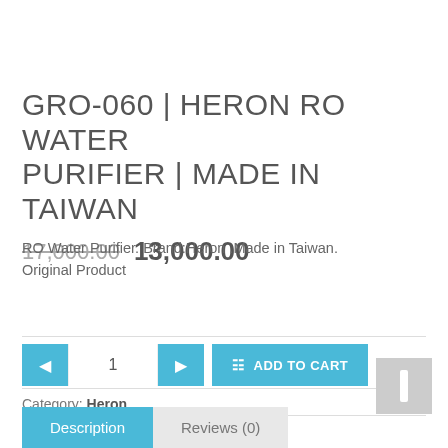GRO-060 | HERON RO WATER PURIFIER | MADE IN TAIWAN
17,000.00   13,000.00
RO Water Purifier. Brand:Heron .Made in Taiwan. Original Product
Category: Heron
Description   Reviews (0)